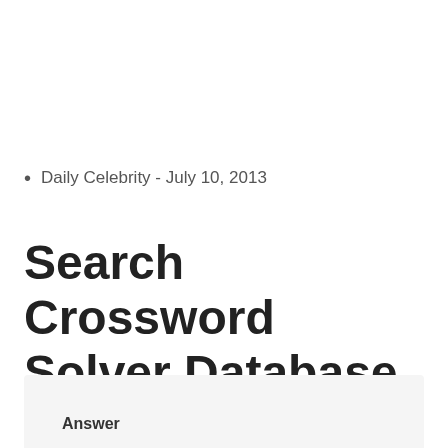Daily Celebrity - July 10, 2013
Search Crossword Solver Database
Answer
ANSWER